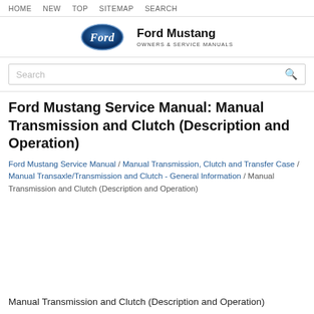HOME  NEW  TOP  SITEMAP  SEARCH
[Figure (logo): Ford oval logo with 'Ford Mustang Owners & Service Manuals' text]
Ford Mustang Service Manual: Manual Transmission and Clutch (Description and Operation)
Ford Mustang Service Manual / Manual Transmission, Clutch and Transfer Case / Manual Transaxle/Transmission and Clutch - General Information / Manual Transmission and Clutch (Description and Operation)
Manual Transmission and Clutch (Description and Operation)